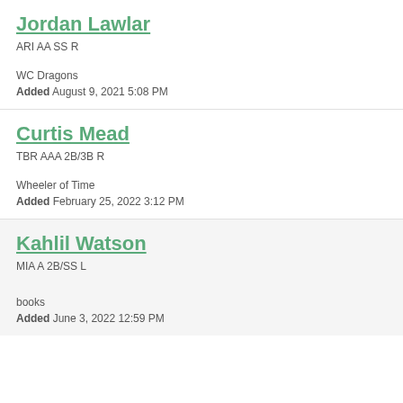Jordan Lawlar
ARI AA SS R
WC Dragons
Added August 9, 2021 5:08 PM
Curtis Mead
TBR AAA 2B/3B R
Wheeler of Time
Added February 25, 2022 3:12 PM
Kahlil Watson
MIA A 2B/SS L
books
Added June 3, 2022 12:59 PM